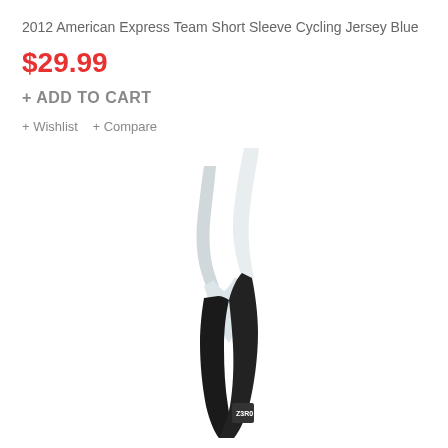2012 American Express Team Short Sleeve Cycling Jersey Blue
$29.99
+ ADD TO CART
+ Wishlist   + Compare
[Figure (photo): Side view of a black and white cycling bib shorts/jersey with shoulder straps on a white background]